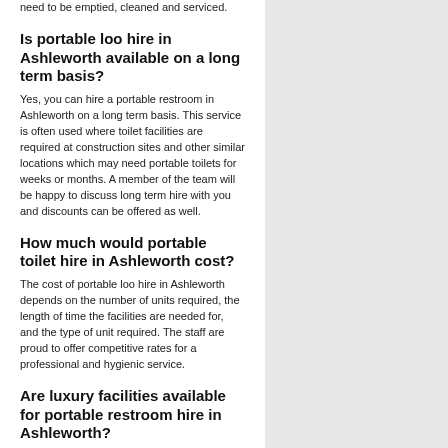need to be emptied, cleaned and serviced.
Is portable loo hire in Ashleworth available on a long term basis?
Yes, you can hire a portable restroom in Ashleworth on a long term basis. This service is often used where toilet facilities are required at construction sites and other similar locations which may need portable toilets for weeks or months. A member of the team will be happy to discuss long term hire with you and discounts can be offered as well.
How much would portable toilet hire in Ashleworth cost?
The cost of portable loo hire in Ashleworth depends on the number of units required, the length of time the facilities are needed for, and the type of unit required. The staff are proud to offer competitive rates for a professional and hygienic service.
Are luxury facilities available for portable restroom hire in Ashleworth?
Luxury facilities are available for mobile bathroom hire in Ashleworth. These can include features such as luxury fittings, hand towels and flower arrangements. Luxury toilet hire Ashleworth is ideal solution for